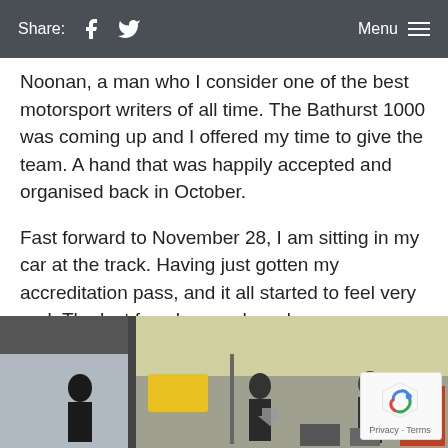Share: [Facebook] [Twitter]   Menu ≡
Noonan, a man who I consider one of the best motorsport writers of all time. The Bathurst 1000 was coming up and I offered my time to give the team. A hand that was happily accepted and organised back in October.
Fast forward to November 28, I am sitting in my car at the track. Having just gotten my accreditation pass, and it all started to feel very real. The last few days and weeks were so difficult because it had been a long waiting game.
[Figure (photo): Photo of a motorsport pit lane or garage area with people working, taken from inside a covered area looking out towards the track.]